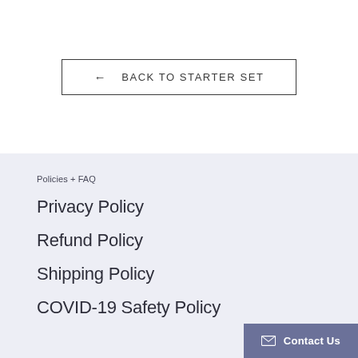← BACK TO STARTER SET
Policies + FAQ
Privacy Policy
Refund Policy
Shipping Policy
COVID-19 Safety Policy
Contact Us